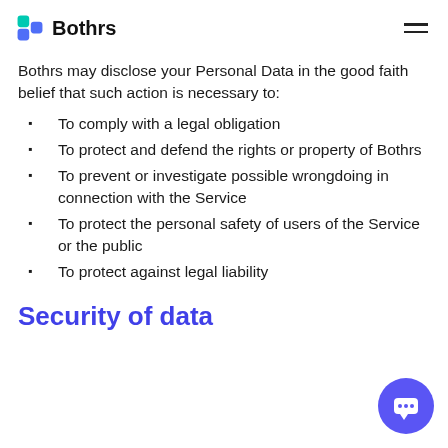Bothrs
Bothrs may disclose your Personal Data in the good faith belief that such action is necessary to:
To comply with a legal obligation
To protect and defend the rights or property of Bothrs
To prevent or investigate possible wrongdoing in connection with the Service
To protect the personal safety of users of the Service or the public
To protect against legal liability
Security of data